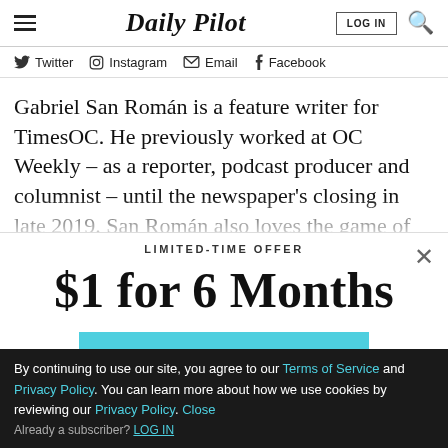Daily Pilot | LOG IN
Twitter  Instagram  Email  Facebook
Gabriel San Román is a feature writer for TimesOC. He previously worked at OC Weekly – as a reporter, podcast producer and columnist – until the newspaper's closing in late 2019. San Román also loves the game of
LIMITED-TIME OFFER
$1 for 6 Months
SUBSCRIBE NOW
By continuing to use our site, you agree to our Terms of Service and Privacy Policy. You can learn more about how we use cookies by reviewing our Privacy Policy.  Close
Already a subscriber? LOG IN